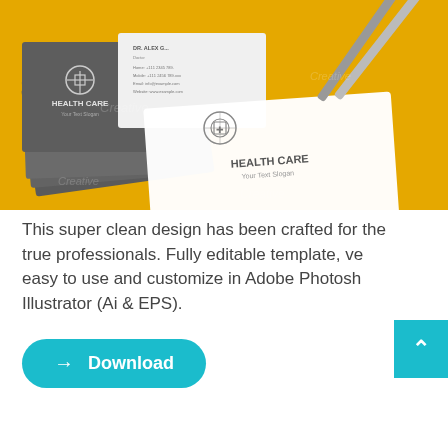[Figure (photo): Photo of Health Care business cards on a yellow/golden background with pencils. Shows stacked dark grey business cards with 'HEALTH CARE' text and logo, plus a white business card face-up in front. Watermark 'Creative' visible.]
This super clean design has been crafted for the true professionals. Fully editable template, very easy to use and customize in Adobe Photoshop & Illustrator (Ai & EPS).